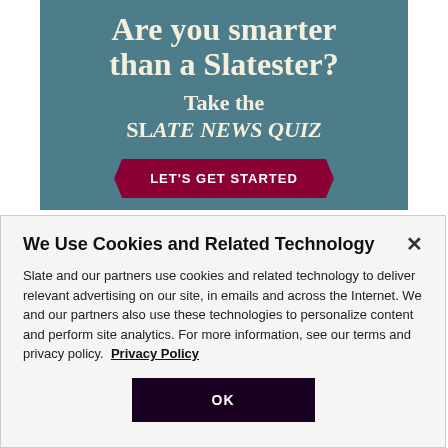[Figure (illustration): Slate News Quiz advertisement banner with teal background. Shows text 'Are you smarter than a Slatester? Take the SLATE NEWS QUIZ' with a dark red arrow button 'LET'S GET STARTED'.]
We Use Cookies and Related Technology
Slate and our partners use cookies and related technology to deliver relevant advertising on our site, in emails and across the Internet. We and our partners also use these technologies to personalize content and perform site analytics. For more information, see our terms and privacy policy.  Privacy Policy
OK